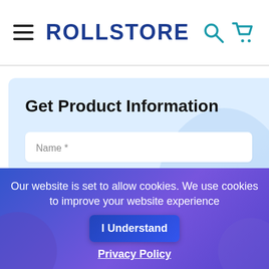ROLLSTORE
Get Product Information
Name *
Company *
Our website is set to allow cookies. We use cookies to improve your website experience  I Understand  Privacy Policy